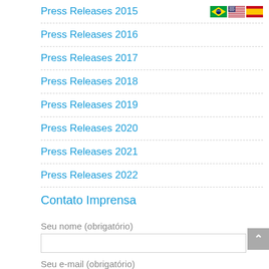Press Releases 2015
Press Releases 2016
Press Releases 2017
Press Releases 2018
Press Releases 2019
Press Releases 2020
Press Releases 2021
Press Releases 2022
[Figure (illustration): Three flag icons: Brazil, USA, Spain]
Contato Imprensa
Seu nome (obrigatório)
Seu e-mail (obrigatório)